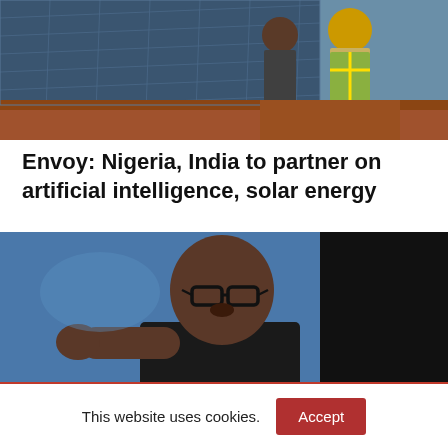[Figure (photo): Workers in hard hats and reflective vests inspecting or installing solar panels on a solar farm, red earth ground visible]
Envoy: Nigeria, India to partner on artificial intelligence, solar energy
[Figure (photo): A man wearing glasses speaking passionately, pointing with his fist raised, against a blue and black background]
This website uses cookies.